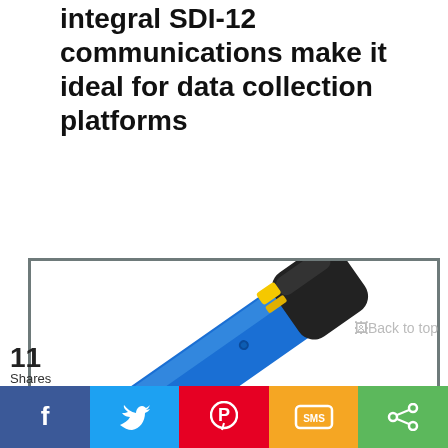integral SDI-12 communications make it ideal for data collection platforms
[Figure (photo): Close-up photograph of a blue cylindrical sensor/probe instrument with a black connector end and yellow locking clip, shown at an angle on a white background, inside a grey-bordered box]
Back to top
11 Shares
[Figure (infographic): Social sharing bar with buttons: Facebook (blue, f icon), Twitter (light blue, bird icon), Pinterest (red, P icon), SMS (yellow/orange, SMS icon), Share (green, share icon)]